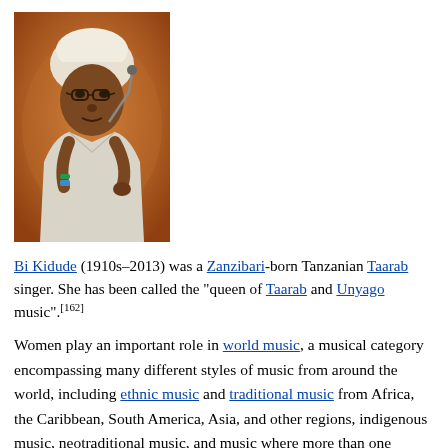[Figure (photo): Photo of Bi Kidude, an elderly Zanzibari woman wearing a white headwrap and white clothing, holding a microphone stand, with a warm orange/amber background.]
Bi Kidude (1910s–2013) was a Zanzibari-born Tanzanian Taarab singer. She has been called the "queen of Taarab and Unyago music".[162]
Women play an important role in world music, a musical category encompassing many different styles of music from around the world, including ethnic music and traditional music from Africa, the Caribbean, South America, Asia, and other regions, indigenous music, neotraditional music, and music where more than one cultural tradition intermingle (e.g., mixtures of Western pop and ethnic music). The term was popularized in the 1980s as a marketing category for non-Western traditional music.[163][164]